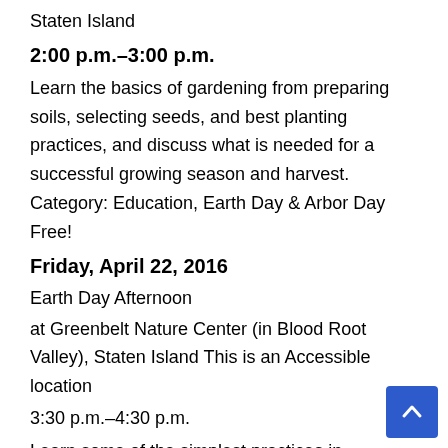Staten Island
2:00 p.m.–3:00 p.m.
Learn the basics of gardening from preparing soils, selecting seeds, and best planting practices, and discuss what is needed for a successful growing season and harvest. Category: Education, Earth Day & Arbor Day Free!
Friday, April 22, 2016
Earth Day Afternoon
at Greenbelt Nature Center (in Blood Root Valley), Staten Island This is an Accessible location
3:30 p.m.–4:30 p.m.
Learn some of the simplest practices in sustainability and amke-and-take a compost cookie to feed a plant at home or at school.